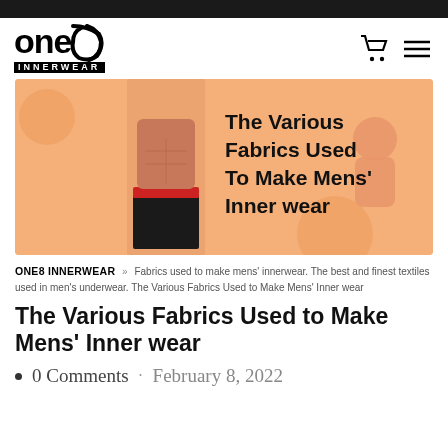one8 INNERWEAR
[Figure (photo): Banner image showing a male model wearing black and red boxer shorts on a peach/orange background. Text overlay reads: The Various Fabrics Used To Make Mens' Inner wear. A second male figure visible in background.]
ONE8 INNERWEAR » Fabrics used to make mens' innerwear. The best and finest textiles used in men's underwear. The Various Fabrics Used to Make Mens' Inner wear
The Various Fabrics Used to Make Mens' Inner wear
0 Comments · February 8, 2022